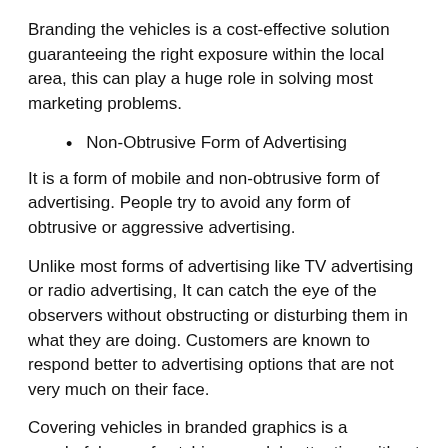Branding the vehicles is a cost-effective solution guaranteeing the right exposure within the local area, this can play a huge role in solving most marketing problems.
Non-Obtrusive Form of Advertising
It is a form of mobile and non-obtrusive form of advertising. People try to avoid any form of obtrusive or aggressive advertising.
Unlike most forms of advertising like TV advertising or radio advertising, It can catch the eye of the observers without obstructing or disturbing them in what they are doing. Customers are known to respond better to advertising options that are not very much on their face.
Covering vehicles in branded graphics is a wonderful way of catching people’s attention without interrupting them. Whether a vehicle is parked in a parking lot or is travelling on the road, people will notice the vehicle graphics.